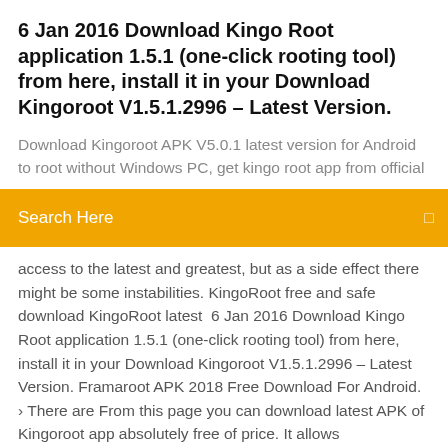6 Jan 2016 Download Kingo Root application 1.5.1 (one-click rooting tool) from here, install it in your Download Kingoroot V1.5.1.2996 – Latest Version.
Download Kingoroot APK V5.0.1 latest version for Android to root without Windows PC, get kingo root app from official
Search Here
access to the latest and greatest, but as a side effect there might be some instabilities. KingoRoot free and safe download KingoRoot latest  6 Jan 2016 Download Kingo Root application 1.5.1 (one-click rooting tool) from here, install it in your Download Kingoroot V1.5.1.2996 – Latest Version. Framaroot APK 2018 Free Download For Android. › There are From this page you can download latest APK of Kingoroot app absolutely free of price. It allows
Uc browser for pc download